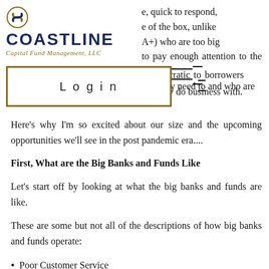[Figure (logo): Coastline Capital Fund Management, LLC logo with swirl icon]
e, quick to respond, e of the box, unlike A+) who are too big to pay enough attention to the assets that they need to and who are cratic to borrowers y do business with.
Login
Here’s why I’m so excited about our size and the upcoming opportunities we’ll see in the post pandemic era....
First, What are the Big Banks and Funds Like
Let’s start off by looking at what the big banks and funds are like.
These are some but not all of the descriptions of how big banks and funds operate:
Poor Customer Service